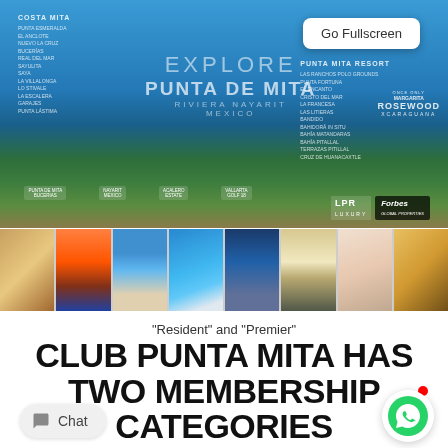[Figure (photo): Panoramic aerial view of Punta de Mita, Riviera Nayarit, Mexico with explore map overlay, location listings, Go Fullscreen button, LPR and Forbes logos. Thumbnail strip of 8 resort/beach photos below.]
“Resident” and “Premier”
CLUB PUNTA MITA HAS TWO MEMBERSHIP CATEGORIES
Chat
[Figure (illustration): WhatsApp green chat icon button with red notification dot]